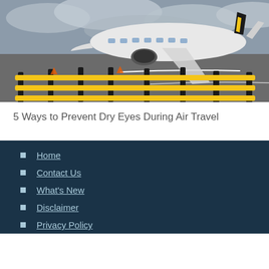[Figure (photo): Photograph of a Ryanair airplane on the tarmac at an airport, with yellow and black safety railings/bollards in the foreground and an overcast sky.]
5 Ways to Prevent Dry Eyes During Air Travel
Home
Contact Us
What's New
Disclaimer
Privacy Policy